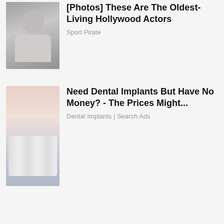[Figure (photo): Thumbnail photo of an elderly male Hollywood actor with gray hair wearing a suit jacket]
[Photos] These Are The Oldest-Living Hollywood Actors
Sport Pirate
[Figure (photo): Close-up photo of dental implants showing teeth and implant hardware]
Need Dental Implants But Have No Money? - The Prices Might...
Dental Implants | Search Ads